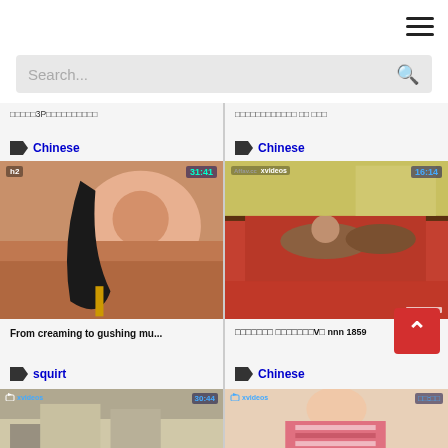[Figure (screenshot): Website header with hamburger menu icon]
Search...
□□□□□3P□□□□□□□□□□
Chinese
□□□□□□□□□□□□ □□ □□□
Chinese
[Figure (photo): Video thumbnail showing woman, h2 watermark, duration 31:41]
[Figure (photo): Video thumbnail showing couple on bed, xvideos watermark, duration 16:14]
From creaming to gushing mu...
squirt
□□□□□□□ □□□□□□□V□ nnn 1859
Chinese
[Figure (photo): Video thumbnail bottom left, xvideos watermark, duration 30:44]
[Figure (photo): Video thumbnail bottom right, xvideos watermark, young woman in striped shirt]